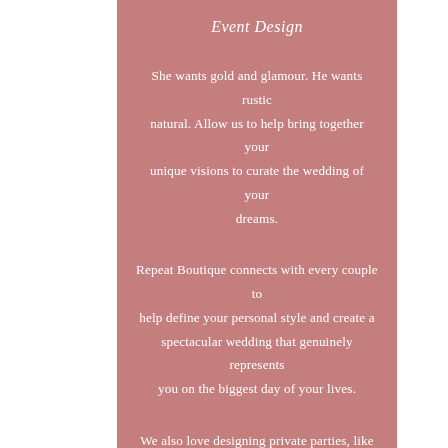Event Design
She wants gold and glamour. He wants rustic natural. Allow us to help bring together your unique visions to curate the wedding of your dreams.
Repeat Boutique connects with every couple to help define your personal style and create a spectacular wedding that genuinely represents you on the biggest day of your lives.
We also love designing private parties, like baby and bridal showers, corporate events, and holiday parties!